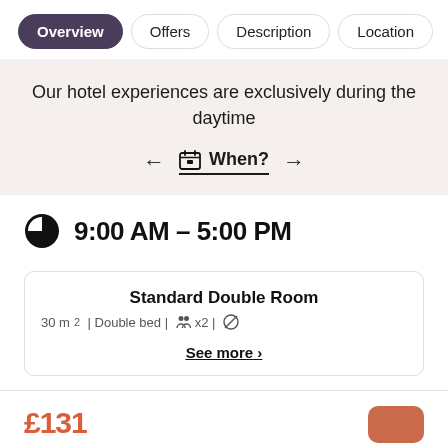Overview | Offers | Description | Location
Our hotel experiences are exclusively during the daytime
When?
9:00 AM – 5:00 PM
Standard Double Room
30 m² | Double bed | x2 |
See more >
£131